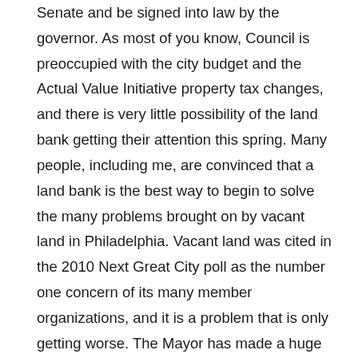Senate and be signed into law by the governor. As most of you know, Council is preoccupied with the city budget and the Actual Value Initiative property tax changes, and there is very little possibility of the land bank getting their attention this spring. Many people, including me, are convinced that a land bank is the best way to begin to solve the many problems brought on by vacant land in Philadelphia. Vacant land was cited in the 2010 Next Great City poll as the number one concern of its many member organizations, and it is a problem that is only getting worse. The Mayor has made a huge contribution with the Front Door initiative and the creation of a land bank would not be possible without that step. But a land bank is needed to foster quality development of both city owned properties and, in the near future, privately held blighted properties.